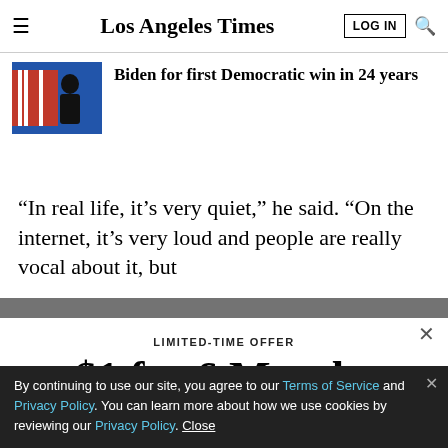Los Angeles Times
Biden for first Democratic win in 24 years
“In real life, it’s very quiet,” he said. “On the internet, it’s very loud and people are really vocal about it, but
LIMITED-TIME OFFER
$1 for 6 Months
SUBSCRIBE NOW
By continuing to use our site, you agree to our Terms of Service and Privacy Policy. You can learn more about how we use cookies by reviewing our Privacy Policy. Close